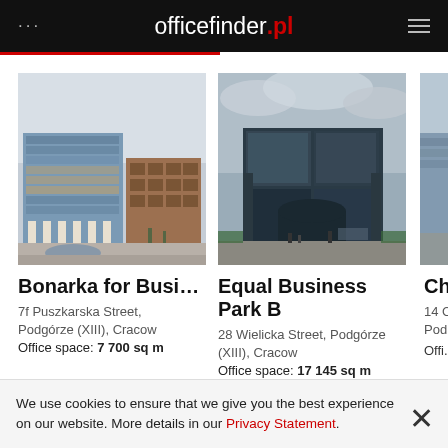officefinder.pl
[Figure (photo): Exterior photo of Bonarka for Business office complex, multi-story glass and brick buildings with plaza]
Bonarka for Busine...
7f Puszkarska Street, Podgórze (XIII), Cracow
Office space: 7 700 sq m
[Figure (photo): Exterior photo of Equal Business Park B, modern dark glass angular office building]
Equal Business Park B
28 Wielicka Street, Podgórze (XIII), Cracow
Office space: 17 145 sq m
[Figure (photo): Partially visible third office building photo]
Ch...
14 C
Pod...
Offi...
We use cookies to ensure that we give you the best experience on our website. More details in our Privacy Statement.